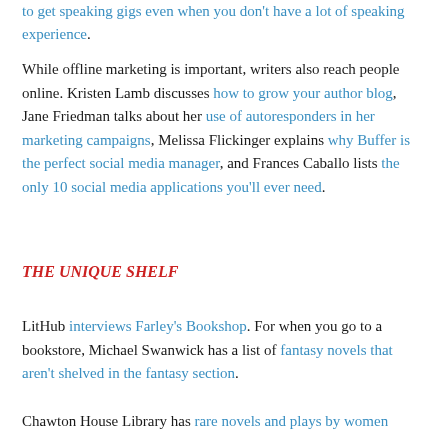to get speaking gigs even when you don't have a lot of speaking experience.
While offline marketing is important, writers also reach people online. Kristen Lamb discusses how to grow your author blog, Jane Friedman talks about her use of autoresponders in her marketing campaigns, Melissa Flickinger explains why Buffer is the perfect social media manager, and Frances Caballo lists the only 10 social media applications you'll ever need.
THE UNIQUE SHELF
LitHub interviews Farley's Bookshop. For when you go to a bookstore, Michael Swanwick has a list of fantasy novels that aren't shelved in the fantasy section.
Chawton House Library has rare novels and plays by women